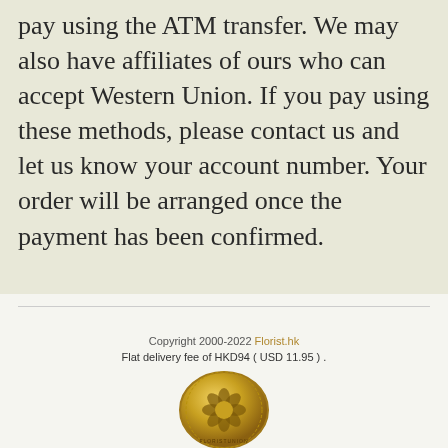pay using the ATM transfer. We may also have affiliates of ours who can accept Western Union. If you pay using these methods, please contact us and let us know your account number. Your order will be arranged once the payment has been confirmed.
Copyright 2000-2022 Florist.hk
Flat delivery fee of HKD94 ( USD 11.95 ) .
[Figure (logo): Floristunion circular gold medallion logo with flower design]